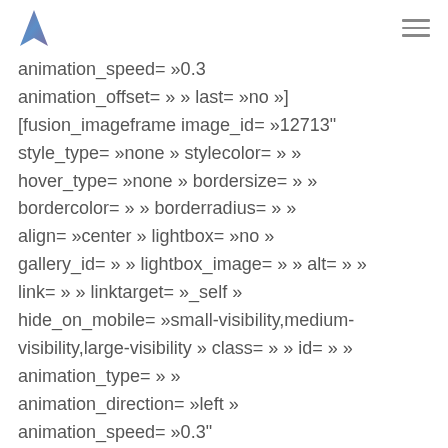[logo] [hamburger menu]
animation_speed= »0.3 animation_offset= » » last= »no »] [fusion_imageframe image_id= »12713" style_type= »none » stylecolor= » » hover_type= »none » bordersize= » » bordercolor= » » borderradius= » » align= »center » lightbox= »no » gallery_id= » » lightbox_image= » » alt= » » link= » » linktarget= »_self » hide_on_mobile= »small-visibility,medium-visibility,large-visibility » class= » » id= » » animation_type= » » animation_direction= »left » animation_speed= »0.3" animation_offset= » »]https://startinsaclay.fr/wp-